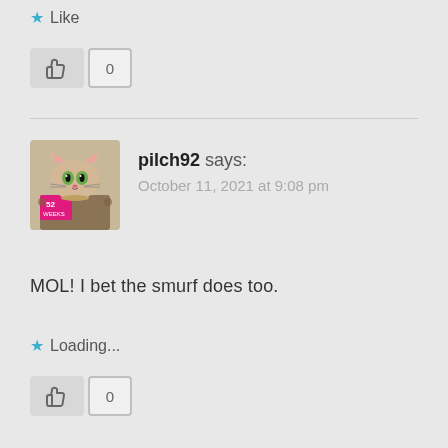★ Like
[Figure (other): Thumbs up like button with count 0]
[Figure (other): Avatar image of pilch92 (cartoon cat)]
pilch92 says:
October 11, 2021 at 9:08 pm
MOL! I bet the smurf does too.
★ Loading...
[Figure (other): Thumbs up like button with count 0]